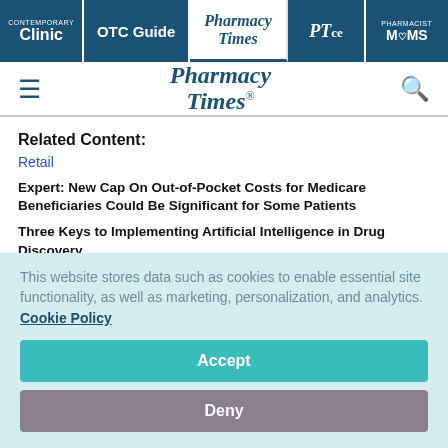Contemporary Clinic | OTC Guide | Pharmacy Times | PTce | Pharmacist MOMS
[Figure (logo): Pharmacy Times logo with hamburger menu and search icon]
Related Content:
Retail
Expert: New Cap On Out-of-Pocket Costs for Medicare Beneficiaries Could Be Significant for Some Patients
Three Keys to Implementing Artificial Intelligence in Drug Discovery
This website stores data such as cookies to enable essential site functionality, as well as marketing, personalization, and analytics. Cookie Policy
Accept
Deny